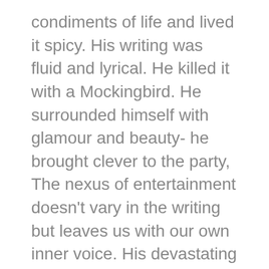condiments of life and lived it spicy. His writing was fluid and lyrical. He killed it with a Mockingbird. He surrounded himself with glamour and beauty- he brought clever to the party, The nexus of entertainment doesn’t vary in the writing but leaves us with our own inner voice. His devastating childhood served as the motivation for his “Cold blooded” approach.
Let’s get busy. Make whatever act you’re in count the most. Add an extra plate to your table and invite that interesting person you met to dinner. Take out the easel, finish the sweater you started knitting. Compile your musings and write